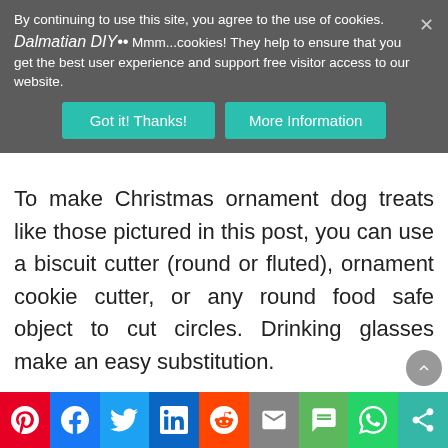By continuing to use this site, you agree to the use of cookies. Mmm...cookies! They help to ensure that you get the best user experience and support free visitor access to our website.
To make Christmas ornament dog treats like those pictured in this post, you can use a biscuit cutter (round or fluted), ornament cookie cutter, or any round food safe object to cut circles. Drinking glasses make an easy substitution.
Making the Treats:
Preheat the oven and mix the dough